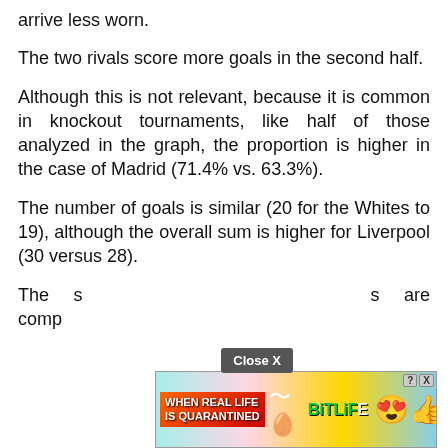arrive less worn.
The two rivals score more goals in the second half.
Although this is not relevant, because it is common in knockout tournaments, like half of those analyzed in the graph, the proportion is higher in the case of Madrid (71.4% vs. 63.3%).
The number of goals is similar (20 for the Whites to 19), although the overall sum is higher for Liverpool (30 versus 28).
The s[ADVERTISEMENT OVERLAY]s are comp[cut off]
[Figure (screenshot): Advertisement banner for BitLife game with rainbow gradient background, showing text 'WHEN REAL LIFE IS QUARANTINED' and BitLife logo with emoji characters. Has a 'Close X' button above it.]